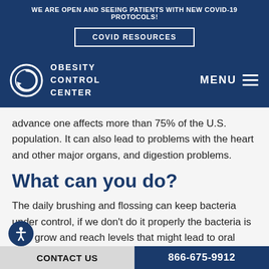WE ARE OPEN AND SEEING PATIENTS WITH NEW COVID-19 PROTOCOLS!
COVID RESOURCES
OBESITY CONTROL CENTER  MENU
advance one affects more than 75% of the U.S. population. It can also lead to problems with the heart and other major organs, and digestion problems.
What can you do?
The daily brushing and flossing can keep bacteria under control, if we don't do it properly the bacteria is going to grow and reach levels that might lead to oral infections, decay and gum disease; specially when
CONTACT US
866-675-9912